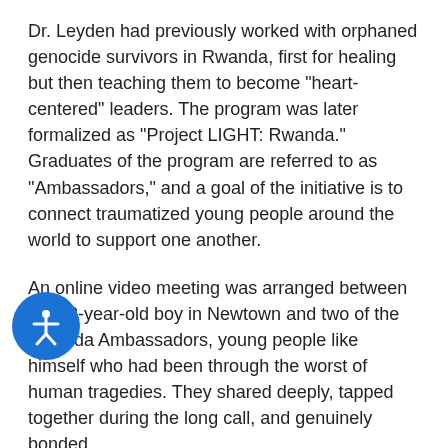Dr. Leyden had previously worked with orphaned genocide survivors in Rwanda, first for healing but then teaching them to become "heart-centered" leaders. The program was later formalized as "Project LIGHT: Rwanda." Graduates of the program are referred to as "Ambassadors," and a goal of the initiative is to connect traumatized young people around the world to support one another.
An online video meeting was arranged between the 12-year-old boy in Newtown and two of the Rwanda Ambassadors, young people like himself who had been through the worst of human tragedies. They shared deeply, tapped together during the long call, and genuinely bonded.
The boy in Newtown was so inspired that he returned to school the next day to make a speech to his classmates about why it is important to care about people who have experienced even greater tragedies.
Completing the full circle, he created a non-profit organization that raised money for two of the Rwanda Ambassadors to attend